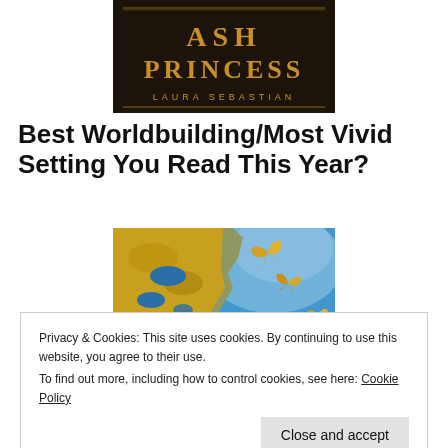[Figure (illustration): Top portion of book cover for 'Ash Princess' by Laura Sebastian. Dark background with golden ornate text reading 'ASH PRINCESS' and author name 'LAURA SEBASTIAN' below.]
Best Worldbuilding/Most Vivid Setting You Read This Year?
[Figure (illustration): Middle section of a book cover showing a golden map-like terrain with blue water bodies and golden butterflies against a blue sky background.]
Privacy & Cookies: This site uses cookies. By continuing to use this website, you agree to their use.
To find out more, including how to control cookies, see here: Cookie Policy
Close and accept